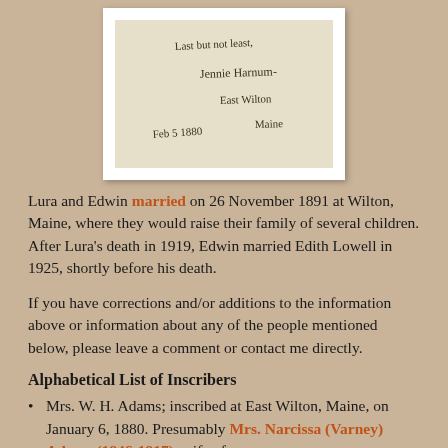[Figure (photo): Handwritten note on aged paper reading 'Last but not least, Jennie Harnum, East Wilton, Maine, Feb 5 1880']
Lura and Edwin married on 26 November 1891 at Wilton, Maine, where they would raise their family of several children. After Lura's death in 1919, Edwin married Edith Lowell in 1925, shortly before his death.
If you have corrections and/or additions to the information above or information about any of the people mentioned below, please leave a comment or contact me directly.
Alphabetical List of Inscribers
Mrs. W. H. Adams; inscribed at East Wilton, Maine, on January 6, 1880. Presumably Mrs. Narcissa (Varney) Adams (1846-1917), wife of